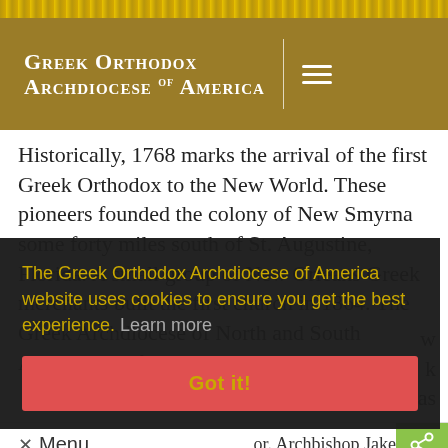Greek Orthodox Archdiocese of America
Historically, 1768 marks the arrival of the first Greek Orthodox to the New World. These pioneers founded the colony of New Smyrna some forty miles south of St. Augustine, Florida. A small group of New Orleans Greek merchants built the first church in 1864. The Greek Archdiocese of North and South America itself
The Greek Orthodox Archdiocese of America website uses cookies to ensure you get the best experience. Learn more
Got it!
✕ Menu
or. Archbishop Jake